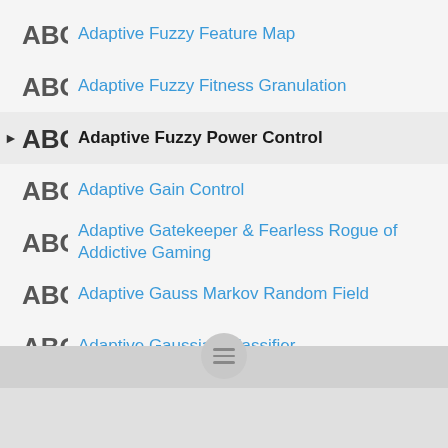Adaptive Fuzzy Feature Map
Adaptive Fuzzy Fitness Granulation
Adaptive Fuzzy Power Control
Adaptive Gain Control
Adaptive Gatekeeper & Fearless Rogue of Addictive Gaming
Adaptive Gauss Markov Random Field
Adaptive Gaussian Classifier